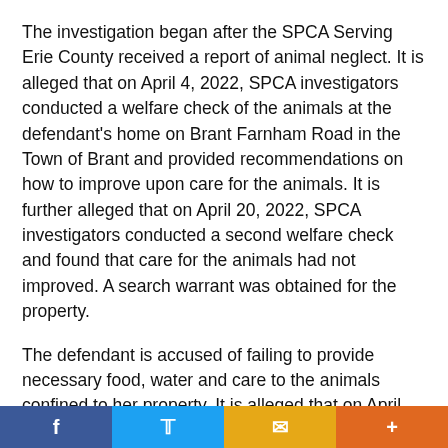The investigation began after the SPCA Serving Erie County received a report of animal neglect. It is alleged that on April 4, 2022, SPCA investigators conducted a welfare check of the animals at the defendant's home on Brant Farnham Road in the Town of Brant and provided recommendations on how to improve upon care for the animals. It is further alleged that on April 20, 2022, SPCA investigators conducted a second welfare check and found that care for the animals had not improved. A search warrant was obtained for the property.
The defendant is accused of failing to provide necessary food, water and care to the animals confined to her property. It is alleged that on April 22, 2022, at approximately 10:00 a.m., investigators executed the